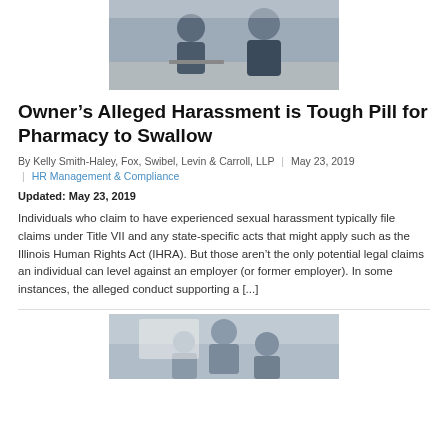[Figure (photo): Two people at a desk with a laptop, appearing to be in a professional meeting or confrontation setting]
Owner’s Alleged Harassment is Tough Pill for Pharmacy to Swallow
By Kelly Smith-Haley, Fox, Swibel, Levin & Carroll, LLP  |  May 23, 2019  |  HR Management & Compliance
Updated: May 23, 2019
Individuals who claim to have experienced sexual harassment typically file claims under Title VII and any state-specific acts that might apply such as the Illinois Human Rights Act (IHRA). But those aren’t the only potential legal claims an individual can level against an employer (or former employer). In some instances, the alleged conduct supporting a [...]
[Figure (photo): People in a professional office or meeting room setting, appearing to collaborate]